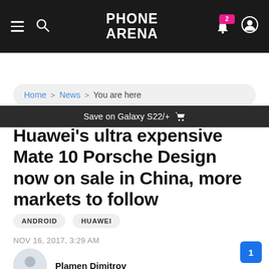PhoneArena navigation bar with hamburger menu, search, logo, notification bell (2), and user icon
Save on Galaxy S22/+
Home > News > You are here
Huawei's ultra expensive Mate 10 Porsche Design now on sale in China, more markets to follow
ANDROID
HUAWEI
NOV 16, 2017, 3:29 AM
Plamen Dimitrov